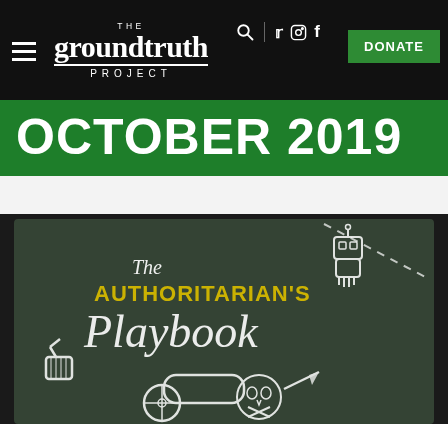THE groundtruth PROJECT | DONATE
OCTOBER 2019
[Figure (illustration): Chalkboard-style illustration titled 'The Authoritarian's Playbook' with chalk drawings including a thumbs-up icon, a cannon, a skull-and-crossbones cannonball, and arrows, on a dark chalkboard background.]